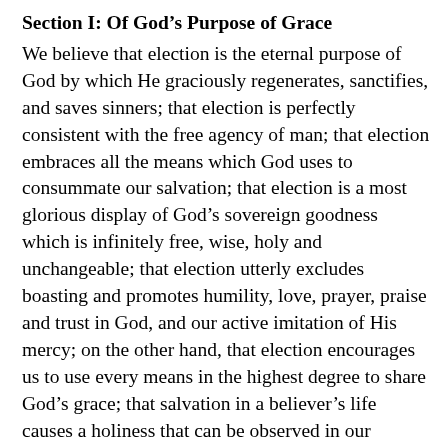Section I: Of God's Purpose of Grace
We believe that election is the eternal purpose of God by which He graciously regenerates, sanctifies, and saves sinners; that election is perfectly consistent with the free agency of man; that election embraces all the means which God uses to consummate our salvation; that election is a most glorious display of God's sovereign goodness which is infinitely free, wise, holy and unchangeable; that election utterly excludes boasting and promotes humility, love, prayer, praise and trust in God, and our active imitation of His mercy; on the other hand, that election encourages us to use every means in the highest degree to share God's grace; that salvation in a believer's life causes a holiness that can be observed in our conduct by both believers and unbelievers alike; that such changed lifestyle is the proof of our salvation to others, and is to be pursued by ourselves with the utmost diligence.